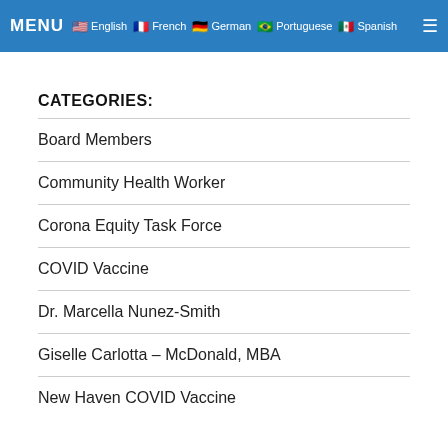MENU  English  French  German  Portuguese  Spanish
CATEGORIES:
Board Members
Community Health Worker
Corona Equity Task Force
COVID Vaccine
Dr. Marcella Nunez-Smith
Giselle Carlotta – McDonald, MBA
New Haven COVID Vaccine